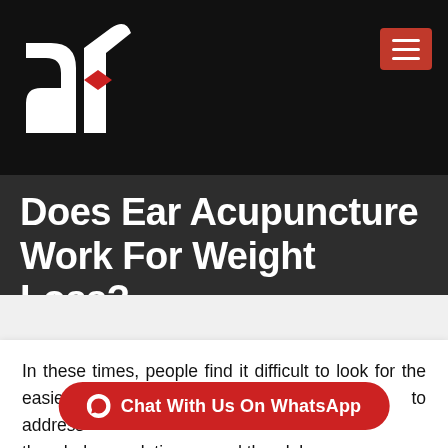[Figure (logo): White stylized 'df' logo with red accent diamond shape on black background, with red hamburger menu button top right]
Does Ear Acupuncture Work For Weight Loss?
In these times, people find it difficult to look for the easiest and definitive method to address the whole population around the globe
[Figure (other): Red rounded button with WhatsApp icon and text 'Chat With Us On WhatsApp']